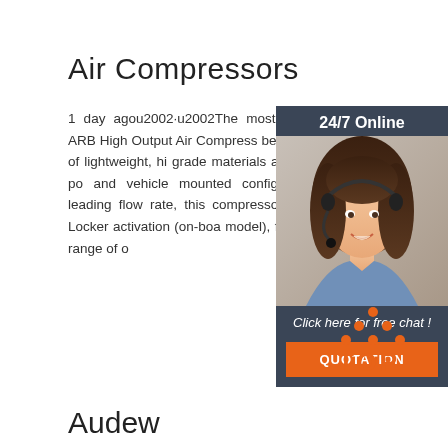Air Compressors
1 day agou2002·u2002The most popular i range, the ARB High Output Air Compresso been constructed entirely of lightweight, hi grade materials and is available in both po and vehicle mounted configurations. With class-leading flow rate, this compressor ha designed for Air Locker activation (on-boa model), fast tyre inflation and a range of o
[Figure (photo): Customer service representative with headset. Overlay widget with '24/7 Online' header, 'Click here for free chat!' text, and orange QUOTATION button.]
Get Price
[Figure (logo): TOP logo with orange dots arranged in triangle above the word TOP in orange bold text]
Audew